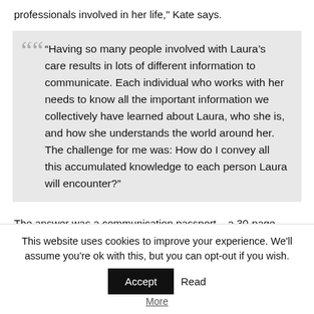professionals involved in her life," Kate says.
“Having so many people involved with Laura’s care results in lots of different information to communicate. Each individual who works with her needs to know all the important information we collectively have learned about Laura, who she is, and how she understands the world around her. The challenge for me was: How do I convey all this accumulated knowledge to each person Laura will encounter?”
The answer was a communication passport – a 30-page booklet the family put together detailing every aspect of Laura’s life, likes and dislikes. From diagnosis and medication, through physical and personal care preferences, to how best to
This website uses cookies to improve your experience. We’ll assume you’re ok with this, but you can opt-out if you wish. Accept Read More